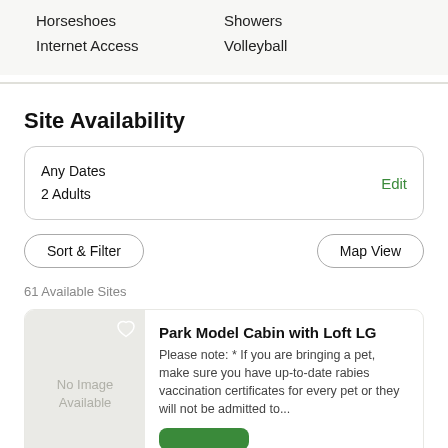Horseshoes
Internet Access
Showers
Volleyball
Site Availability
Any Dates
2 Adults
Edit
Sort & Filter
Map View
61 Available Sites
Park Model Cabin with Loft LG
Please note: * If you are bringing a pet, make sure you have up-to-date rabies vaccination certificates for every pet or they will not be admitted to...